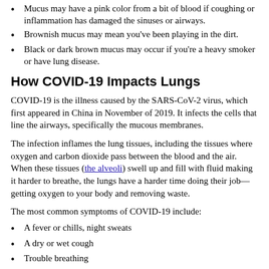Mucus may have a pink color from a bit of blood if coughing or inflammation has damaged the sinuses or airways.
Brownish mucus may mean you've been playing in the dirt.
Black or dark brown mucus may occur if you're a heavy smoker or have lung disease.
How COVID-19 Impacts Lungs
COVID-19 is the illness caused by the SARS-CoV-2 virus, which first appeared in China in November of 2019. It infects the cells that line the airways, specifically the mucous membranes.
The infection inflames the lung tissues, including the tissues where oxygen and carbon dioxide pass between the blood and the air. When these tissues (the alveoli) swell up and fill with fluid making it harder to breathe, the lungs have a harder time doing their job—getting oxygen to your body and removing waste.
The most common symptoms of COVID-19 include:
A fever or chills, night sweats
A dry or wet cough
Trouble breathing
Aches and pains, including headache and sore throat